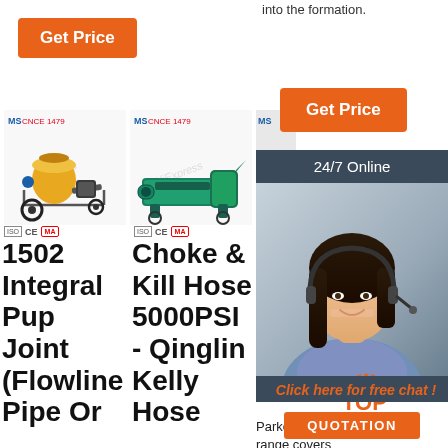into the formation.
Get Price
Get Price
24/7 Online
[Figure (photo): Customer service agent/woman with headset smiling]
Click here for free chat !
QUOTATION
[Figure (photo): Industrial pump/grouting machine on wheels with yellow drum - product 1]
[Figure (photo): Industrial choke and kill hose pump - green machine - product 2]
[Figure (photo): Industrial high pressure hose product - partially visible]
1502 Integral Pup Joint (Flowline Pipe Or
Choke & Kill Hose 5000PSI - Qinglin Kelly Hose
Hi Pressure Hose
Parker's hose range covers pressures up to